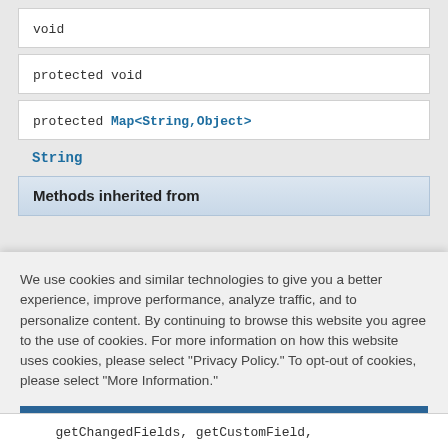void
protected void
protected Map<String,Object>
String
Methods inherited from
We use cookies and similar technologies to give you a better experience, improve performance, analyze traffic, and to personalize content. By continuing to browse this website you agree to the use of cookies. For more information on how this website uses cookies, please select "Privacy Policy." To opt-out of cookies, please select "More Information."
Accept Cookies
More Information
Privacy Policy | Powered by: TrustArc
getChangedFields, getCustomField,